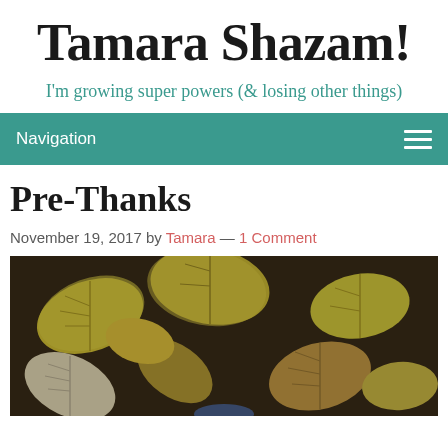Tamara Shazam!
I'm growing super powers (& losing other things)
Navigation
Pre-Thanks
November 19, 2017 by Tamara — 1 Comment
[Figure (photo): Autumn leaves scattered on the ground, showing yellow, brown, and pale maple leaves against dark soil.]